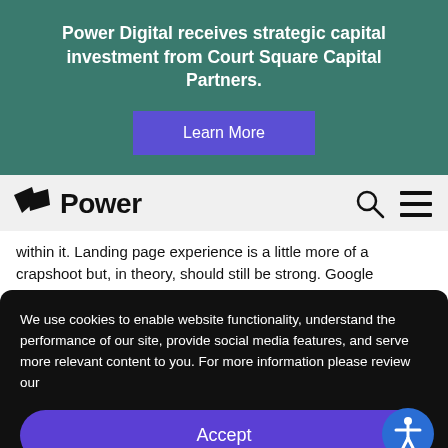Power Digital receives strategic capital investment from Court Square Capital Partners.
Learn More
[Figure (logo): Power Digital logo with angular flag icon and the word Power in bold sans-serif, with search and hamburger menu icons on the right]
within it. Landing page experience is a little more of a crapshoot but, in theory, should still be strong. Google
We use cookies to enable website functionality, understand the performance of our site, provide social media features, and serve more relevant content to you. For more information please review our
Accept
Privacy Policy  Privacy Policy